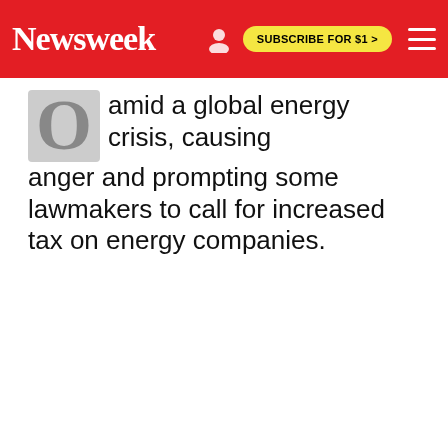Newsweek | SUBSCRIBE FOR $1 >
amid a global energy crisis, causing anger and prompting some lawmakers to call for increased tax on energy companies.